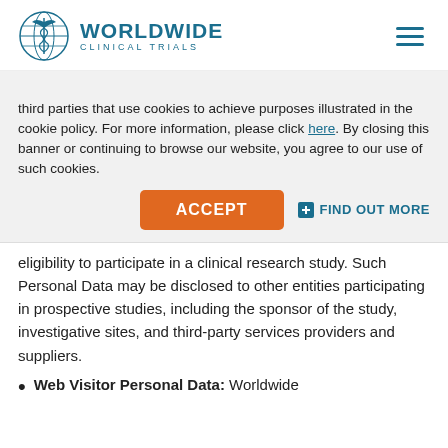[Figure (logo): Worldwide Clinical Trials logo with caduceus globe icon and text]
third parties that use cookies to achieve purposes illustrated in the cookie policy. For more information, please click here. By closing this banner or continuing to browse our website, you agree to our use of such cookies.
ACCEPT button and FIND OUT MORE link
Prospective Study Personal Data: Personal Data may be collected from study participants, including patients and healthy volunteers, in order to determine their eligibility to participate in a clinical research study. Such Personal Data may be disclosed to other entities participating in prospective studies, including the sponsor of the study, investigative sites, and third-party services providers and suppliers.
Web Visitor Personal Data: Worldwide